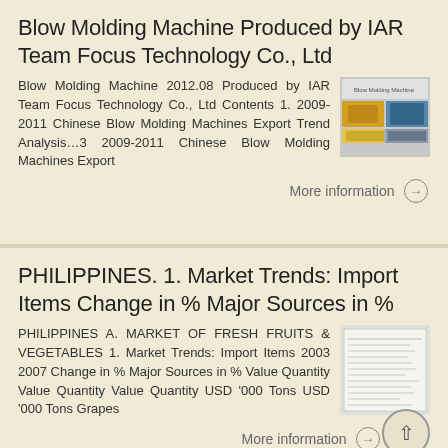Blow Molding Machine Produced by IAR Team Focus Technology Co., Ltd
Blow Molding Machine 2012.08 Produced by IAR Team Focus Technology Co., Ltd Contents 1. 2009-2011 Chinese Blow Molding Machines Export Trend Analysis…3 2009-2011 Chinese Blow Molding Machines Export
[Figure (photo): Thumbnail image of blow molding machine report cover]
More information →
PHILIPPINES. 1. Market Trends: Import Items Change in % Major Sources in %
PHILIPPINES A. MARKET OF FRESH FRUITS & VEGETABLES 1. Market Trends: Import Items 2003 2007 Change in % Major Sources in % Value Quantity Value Quantity Value Quantity USD '000 Tons USD '000 Tons Grapes
[Figure (photo): Thumbnail image of Philippines market trends document]
More information →